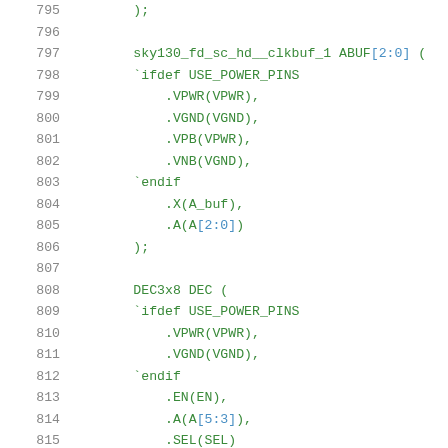795    );
796
797    sky130_fd_sc_hd__clkbuf_1 ABUF[2:0] (
798    `ifdef USE_POWER_PINS
799        .VPWR(VPWR),
800        .VGND(VGND),
801        .VPB(VPWR),
802        .VNB(VGND),
803    `endif
804        .X(A_buf),
805        .A(A[2:0])
806    );
807
808    DEC3x8 DEC (
809    `ifdef USE_POWER_PINS
810        .VPWR(VPWR),
811        .VGND(VGND),
812    `endif
813        .EN(EN),
814        .A(A[5:3]),
815        .SEL(SEL)